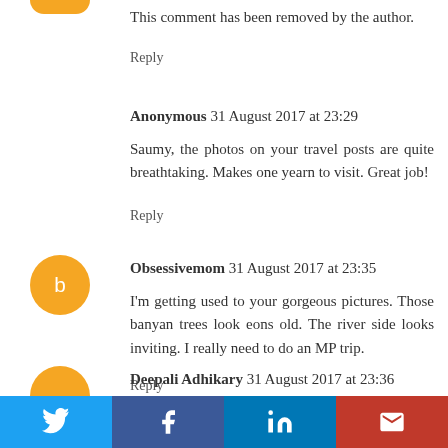This comment has been removed by the author.
Reply
Anonymous 31 August 2017 at 23:29
Saumy, the photos on your travel posts are quite breathtaking. Makes one yearn to visit. Great job!
Reply
Obsessivemom 31 August 2017 at 23:35
I'm getting used to your gorgeous pictures. Those banyan trees look eons old. The river side looks inviting. I really need to do an MP trip.
Reply
Deepali Adhikary 31 August 2017 at 23:36